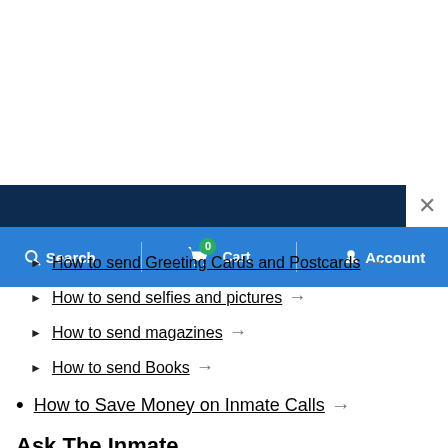[Figure (screenshot): Website navigation bar with dark blue header and close (X) button, blue bar with Search, Cart (0), and Account icons]
How to send Greeting Cards and Postcards →
How to send selfies and pictures →
How to send magazines →
How to send Books →
How to Save Money on Inmate Calls →
Ask The Inmate
Ask a former inmate questions at no charge. The inmate answering has spent considerable time in the federal prison system, state and county jails, and in a prison that was run by the private prison entity